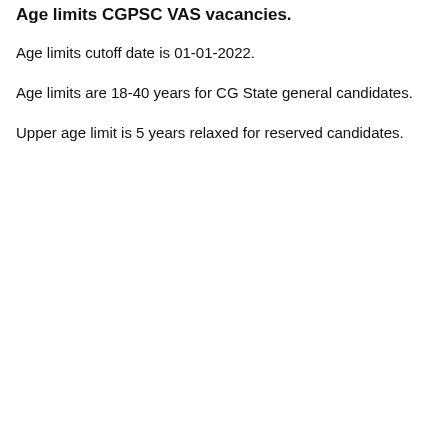Age limits CGPSC VAS vacancies.
Age limits cutoff date is 01-01-2022.
Age limits are 18-40 years for CG State general candidates.
Upper age limit is 5 years relaxed for reserved candidates.